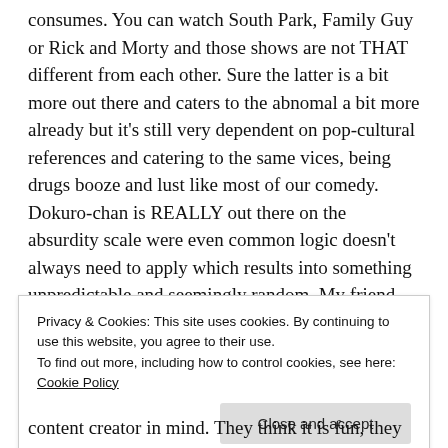consumes. You can watch South Park, Family Guy or Rick and Morty and those shows are not THAT different from each other. Sure the latter is a bit more out there and caters to the abnomal a bit more already but it's still very dependent on pop-cultural references and catering to the same vices, being drugs booze and lust like most of our comedy. Dokuro-chan is REALLY out there on the absurdity scale were even common logic doesn't always need to apply which results into something unpredictable and seemingly random. My friend began to appreciate seeing things he never saw before, of having a sense of being completely gobsmacked. I
Privacy & Cookies: This site uses cookies. By continuing to use this website, you agree to their use.
To find out more, including how to control cookies, see here: Cookie Policy
content creator in mind. They think it is fun, they